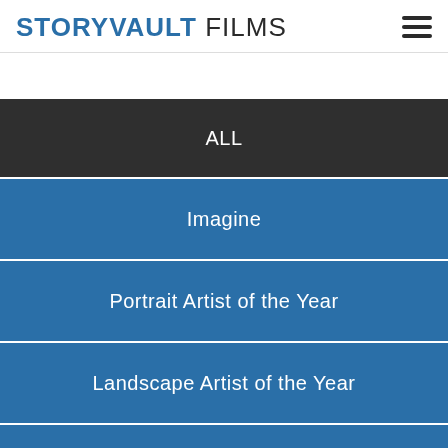STORYVAULT FILMS
ALL
Imagine
Portrait Artist of the Year
Landscape Artist of the Year
Documentaries